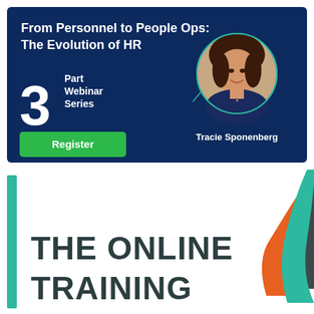[Figure (infographic): Dark blue webinar promotional banner. Title reads 'From Personnel to People Ops: The Evolution of HR'. Shows '3 Part Webinar Series' with a green Register button and a circular portrait of Tracie Sponenberg.]
[Figure (infographic): White section with teal left bar, large bold dark text 'THE ONLINE TRAINING', and decorative curved wave shapes (teal, orange, dark) on the right side.]